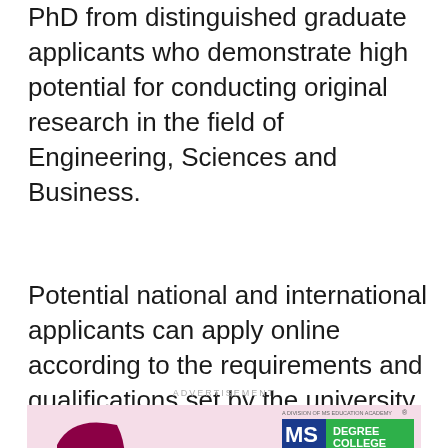PhD from distinguished graduate applicants who demonstrate high potential for conducting original research in the field of Engineering, Sciences and Business.
Potential national and international applicants can apply online according to the requirements and qualifications set by the university.
ADVERTISEMENT
[Figure (illustration): MS Degree College advertisement featuring a girl in hijab silhouette, MS Degree College logo, tagline 'Transforming Talent, Exploring Opportunities', maroon banner with text 'MAKE YOUR GIRL A HOME MAKER AND A PROFESSIONAL TOO!!!', and Degree College Results section showing three medal winners: FARHEEN BEGUM (1st), NAUSHEEEN JALEEL (2nd), ZEBA FAKRA (2nd)]